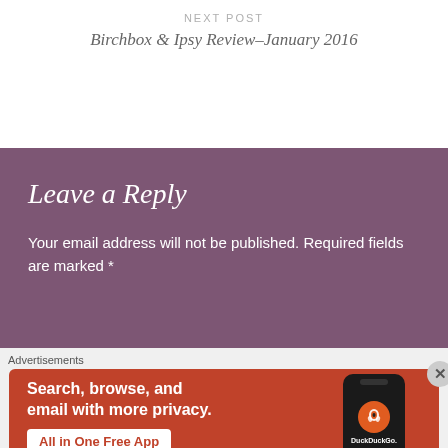NEXT POST
Birchbox & Ipsy Review–January 2016
Leave a Reply
Your email address will not be published. Required fields are marked *
Advertisements
[Figure (screenshot): DuckDuckGo advertisement banner: orange background with text 'Search, browse, and email with more privacy. All in One Free App' and a phone showing DuckDuckGo app logo]
X close button overlay